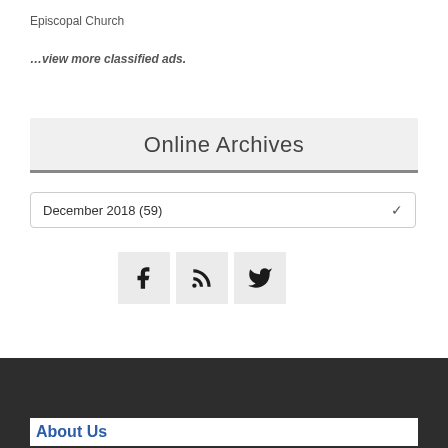Episcopal Church
…view more classified ads.
Online Archives
December 2018  (59)
[Figure (other): Social media icons: Facebook, RSS feed, Twitter]
About Us